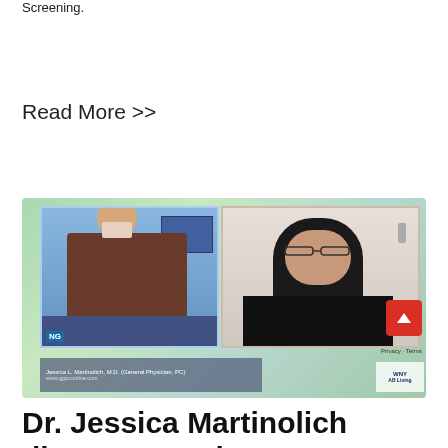Screening.
Read More >>
[Figure (screenshot): TV news screenshot showing a male news anchor on the left panel with a blue studio background, and Dr. Jessica L. Martinolich, M.D. (General Physician, PC) on the right panel appearing via video call from a medical setting. Lower third banner shows her name and www.gppconline.com. WNY Living branding visible in bottom right.]
Dr. Jessica Martinolich discusses Colon